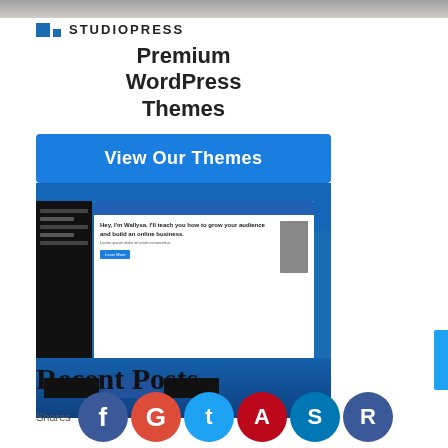[Figure (screenshot): Top portion of a webpage showing a cropped banner/hero image at the very top.]
[Figure (advertisement): StudioPress advertisement banner featuring their logo, 'Premium WordPress Themes' tagline, 'View Our Themes' blue button, and a screenshot collage of website designs.]
Recent Posts
Shares
[Figure (infographic): Row of social media share buttons: Facebook, Google+, Twitter, Pinterest, LinkedIn, Facebook — colored circles with initial letters.]